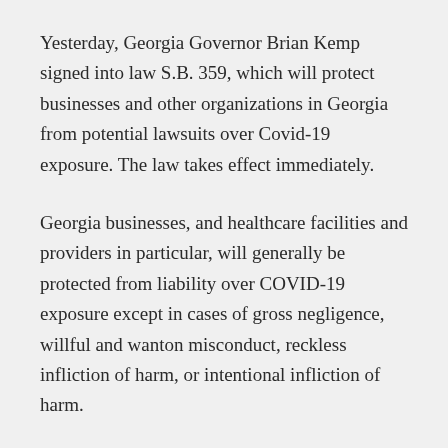Yesterday, Georgia Governor Brian Kemp signed into law S.B. 359, which will protect businesses and other organizations in Georgia from potential lawsuits over Covid-19 exposure. The law takes effect immediately.
Georgia businesses, and healthcare facilities and providers in particular, will generally be protected from liability over COVID-19 exposure except in cases of gross negligence, willful and wanton misconduct, reckless infliction of harm, or intentional infliction of harm.
Furthermore, businesses can provide additional protection from liability by posting or printing specific warnings, which will create a rebuttable presumption of assumption of the risk by a claimant.